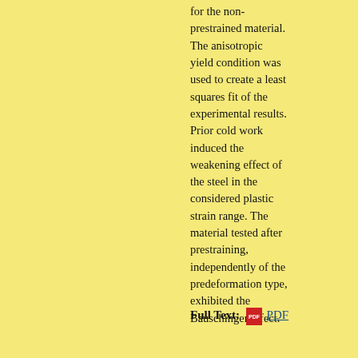for the non-prestrained material. The anisotropic yield condition was used to create a least squares fit of the experimental results. Prior cold work induced the weakening effect of the steel in the considered plastic strain range. The material tested after prestraining, independently of the predeformation type, exhibited the Bauschinger effect.
Full Text: PDF
References
R.N. WILSON, The influence of 9% prestrain on the creep strength of Al-2.5% Cu-1.2% Mg alloys at 150 C, J. Institute of Meta.ls, 101, 188-196, 1973.